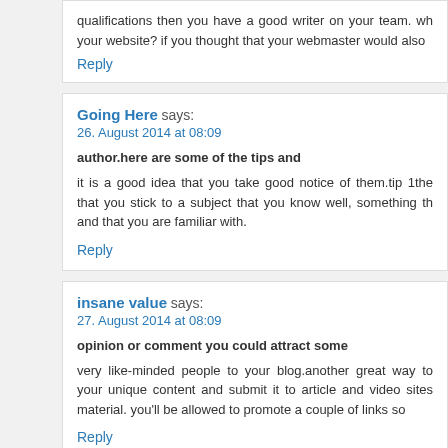qualifications then you have a good writer on your team. what about your website? if you thought that your webmaster would also
Reply
Going Here says:
26. August 2014 at 08:09
author.here are some of the tips and
it is a good idea that you take good notice of them.tip 1the that you stick to a subject that you know well, something th and that you are familiar with.
Reply
insane value says:
27. August 2014 at 08:09
opinion or comment you could attract some
very like-minded people to your blog.another great way to your unique content and submit it to article and video sites material. you'll be allowed to promote a couple of links so
Reply
http://hiendcorner.pl/?p=1438 says:
27. August 2014 at 08:26